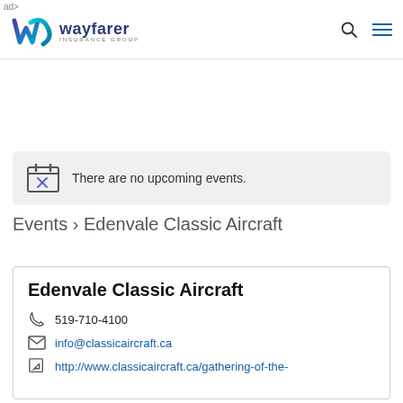ad> | Wayfarer Insurance Group
There are no upcoming events.
Events › Edenvale Classic Aircraft
Edenvale Classic Aircraft
519-710-4100
info@classicaircraft.ca
http://www.classicaircraft.ca/gathering-of-the-